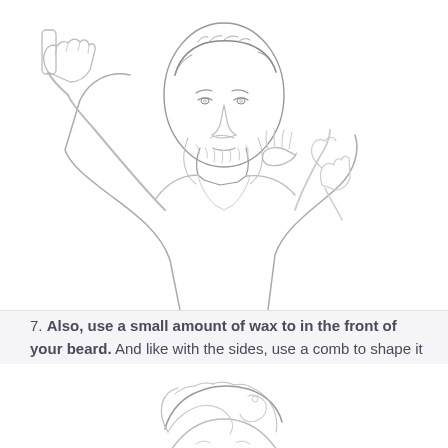[Figure (illustration): Pencil sketch illustration of a bearded man applying wax or product to his beard with both hands — one hand raised holding product near his head, the other touching his chin/beard area.]
7. Also, use a small amount of wax to in the front of your beard. And like with the sides, use a comb to shape it in the direction that you want.
[Figure (illustration): Pencil sketch illustration of the top of a man's head/hair, partially visible at the bottom of the page.]